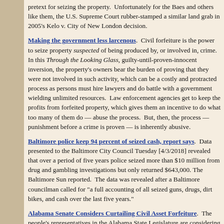pretext for seizing the property.  Unfortunately for the Baes and others like them, the U.S. Supreme Court rubber-stamped a similar land grab in 2005's Kelo v. City of New London decision.
Making the government less larcenous.  Civil forfeiture is the power to seize property suspected of being produced by, or involved in, crime.  In this Through the Looking Glass, guilty-until-proven-innocent inversion, the property's owners bear the burden of proving that they were not involved in such activity, which can be a costly and protracted process as persons must hire lawyers and do battle with a government wielding unlimited resources.  Law enforcement agencies get to keep the profits from forfeited property, which gives them an incentive to do what too many of them do — abuse the process.  But, then, the process — punishment before a crime is proven — is inherently abusive.
Baltimore police keep 94 percent of seized cash, report says.  Data presented to the Baltimore City Council Tuesday [4/3/2018] revealed that over a period of five years police seized more than $10 million from drug and gambling investigations but only returned $643,000. The Baltimore Sun reported.  The data was revealed after a Baltimore councilman called for "a full accounting of all seized guns, drugs, dirt bikes, and cash over the last five years."
Alabama Senate Considers Curtailing Civil Asset Forfeiture.  The people's representatives in the Alabama State Legislature are considering curtailing the power of the state's law enforcement officers from seizing the property (including the money) of individuals who have not been convicted of any crime.  Some sheriffs and other police agencies do not support this proposal, however.  In fact, two law-enforcement officials are so adamant that lawmakers not revoke this